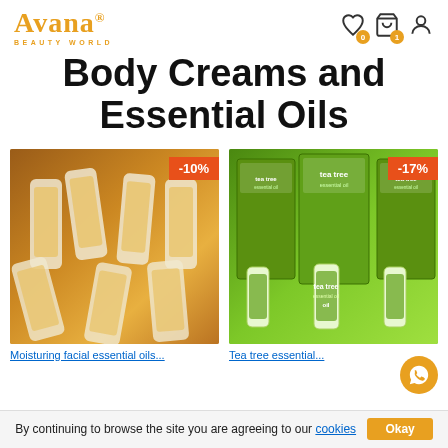Avana Beauty World
Body Creams and Essential Oils
[Figure (photo): Multiple white plastic bottles with orange/papaya label design, -10% discount badge in top right]
[Figure (photo): Tea tree essential oil packages in green packaging arranged in a set, -17% discount badge in top right]
By continuing to browse the site you are agreeing to our cookies  Okay